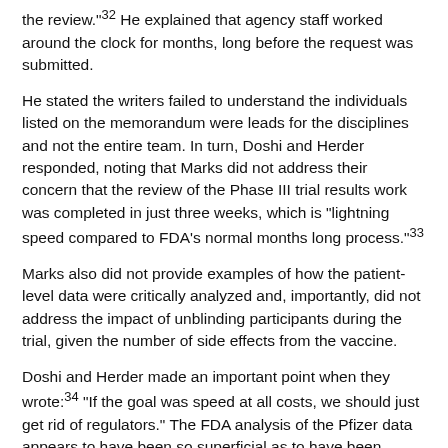the review.”³² He explained that agency staff worked around the clock for months, long before the request was submitted.
He stated the writers failed to understand the individuals listed on the memorandum were leads for the disciplines and not the entire team. In turn, Doshi and Herder responded, noting that Marks did not address their concern that the review of the Phase III trial results work was completed in just three weeks, which is “lightning speed compared to FDA’s normal months long process.”³³
Marks also did not provide examples of how the patient-level data were critically analyzed and, importantly, did not address the impact of unblinding participants during the trial, given the number of side effects from the vaccine.
Doshi and Herder made an important point when they wrote:³⁴ “If the goal was speed at all costs, we should just get rid of regulators.” The FDA analysis of the Pfizer data appears to have been so superficial as to have been nearly no evaluation at all.
Pfizer Clinical Trial Auditor Reveals